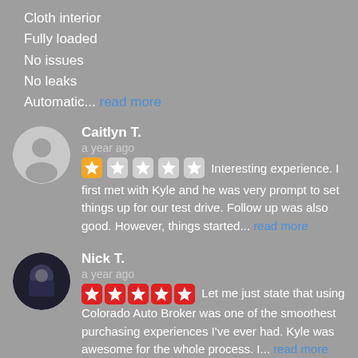Cloth interior
Fully loaded
No issues
No leaks
Automatic... read more
Caitlyn T.
a year ago
★☆☆☆☆ Interesting experience. I first met with Kyle and he was very prompt to set things up for our test drive. Follow up was also good. However, things started... read more
Nick T.
a year ago
★★★★★ Let me just state that using Colorado Auto Broker was one of the smoothest purchasing experiences I've ever had. Kyle was awesome for the whole process. I... read more